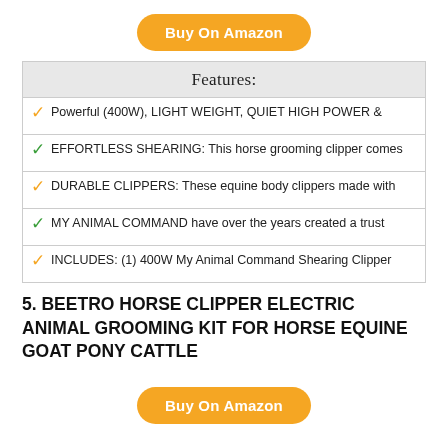[Figure (other): Orange rounded button labeled 'Buy On Amazon']
|  | Features: |
| --- | --- |
| ✓ | Powerful (400W), LIGHT WEIGHT, QUIET HIGH POWER & |
| ✓ | EFFORTLESS SHEARING: This horse grooming clipper comes |
| ✓ | DURABLE CLIPPERS: These equine body clippers made with |
| ✓ | MY ANIMAL COMMAND have over the years created a trust |
| ✓ | INCLUDES: (1) 400W My Animal Command Shearing Clipper |
5. BEETRO HORSE CLIPPER ELECTRIC ANIMAL GROOMING KIT FOR HORSE EQUINE GOAT PONY CATTLE
[Figure (other): Orange rounded button labeled 'Buy On Amazon']